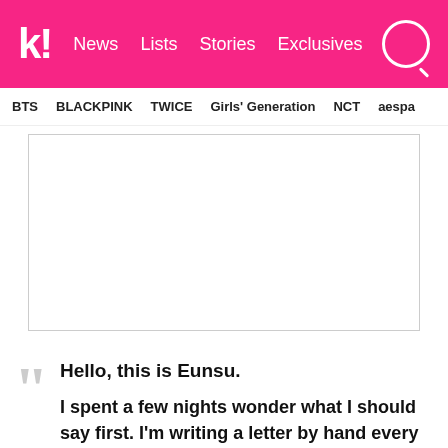k! News Lists Stories Exclusives
BTS BLACKPINK TWICE Girls' Generation NCT aespa
[Figure (other): Advertisement placeholder box (blank white rectangle with border)]
Hello, this is Eunsu.

I spent a few nights wonder what I should say first. I'm writing a letter by hand every night, trying to make sure I don't leave anything out, and I wrote one today too. As of today, MYTEEN